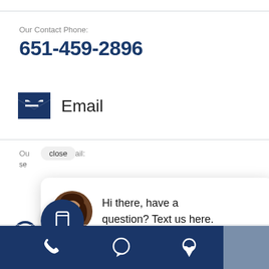Our Contact Phone:
651-459-2896
[Figure (illustration): Dark navy envelope icon with white lines suggesting a letter]
Email
Our Contact Email:
close
[Figure (photo): Chat popup with circular avatar photo of a smiling woman and text: Hi there, have a question? Text us here.]
Hi there, have a question? Text us here.
[Figure (illustration): Navy circle button with mobile/SMS icon, and bottom navigation bar with phone, chat bubble, and location pin icons on dark navy background]
Phone icon, Chat icon, Location pin icon navigation bar